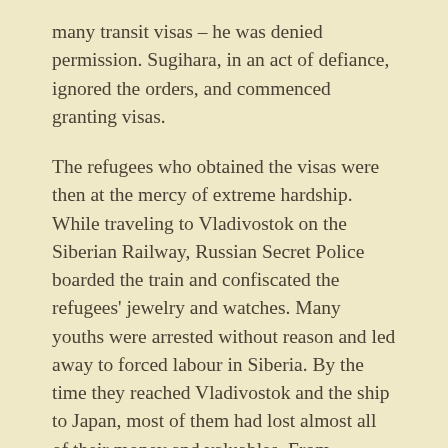many transit visas – he was denied permission. Sugihara, in an act of defiance, ignored the orders, and commenced granting visas.
The refugees who obtained the visas were then at the mercy of extreme hardship. While traveling to Vladivostok on the Siberian Railway, Russian Secret Police boarded the train and confiscated the refugees' jewelry and watches. Many youths were arrested without reason and led away to forced labour in Siberia. By the time they reached Vladivostok and the ship to Japan, most of them had lost almost all of their money and valuables. From Vladivostok they took ship to Tsuruga.